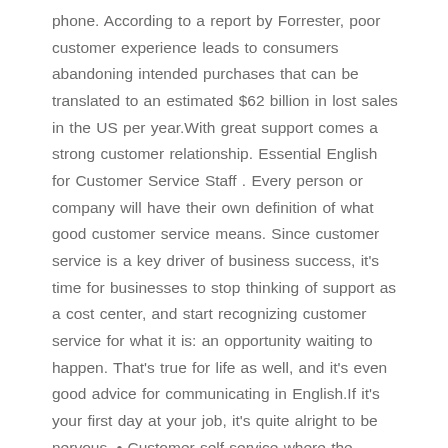phone. According to a report by Forrester, poor customer experience leads to consumers abandoning intended purchases that can be translated to an estimated $62 billion in lost sales in the US per year.With great support comes a strong customer relationship. Essential English for Customer Service Staff . Every person or company will have their own definition of what good customer service means. Since customer service is a key driver of business success, it's time for businesses to stop thinking of support as a cost center, and start recognizing customer service for what it is: an opportunity waiting to happen. That's true for life as well, and it's even good advice for communicating in English.If it's your first day at your job, it's quite alright to be nervous. • Customer self-service where the customers can self-order and help themselves using web-based password access. Jane has a long track record of increasing customer loyalty and It includes trying your best to make sure that the customer is satisfied. What makes a good customer service representative? I know customer satisfaction is extremely important to your company, and it is always something I strive